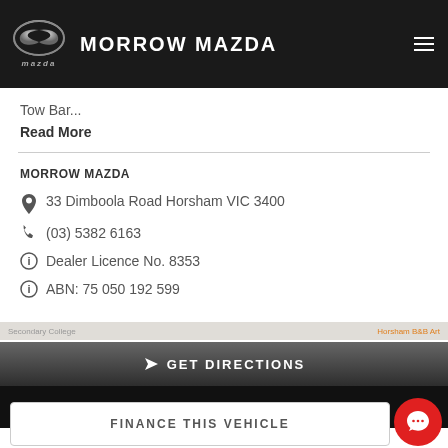MORROW MAZDA
Tow Bar...
Read More
MORROW MAZDA
33 Dimboola Road Horsham VIC 3400
(03) 5382 6163
Dealer Licence No. 8353
ABN: 75 050 192 599
GET DIRECTIONS
CONTACT US
FINANCE THIS VEHICLE